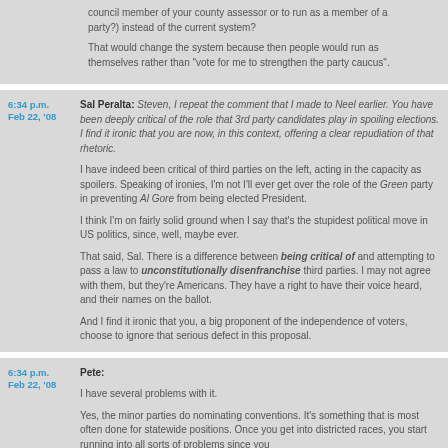council member of your county assessor or to run as a member of a party?) instead of the current system?
That would change the system because then people would run as themselves rather than "vote for me to strengthen the party caucus".
6:34 p.m. Feb 22, '08 — Sal Peralta: Steven, I repeat the comment that I made to Neel earlier. You have been deeply critical of the role that 3rd party candidates play in spoiling elections. I find it ironic that you are now, in this context, offering a clear repudiation of that rhetoric.
I have indeed been critical of third parties on the left, acting in the capacity as spoilers. Speaking of ironies, I'm not I'll ever get over the role of the Green party in preventing Al Gore from being elected President.
I think I'm on fairly solid ground when I say that's the stupidest political move in US politics, since, well, maybe ever.
That said, Sal. There is a difference between being critical of and attempting to pass a law to unconstitutionally disenfranchise third parties. I may not agree with them, but they're Americans. They have a right to have their voice heard, and their names on the ballot.
And I find it ironic that you, a big proponent of the independence of voters, choose to ignore that serious defect in this proposal.
6:34 p.m. Feb 22, '08 — Pete:
I have several problems with it.
Yes, the minor parties do nominating conventions. It's something that is most often done for statewide positions. Once you get into districted races, you start running into all sorts of problems since you